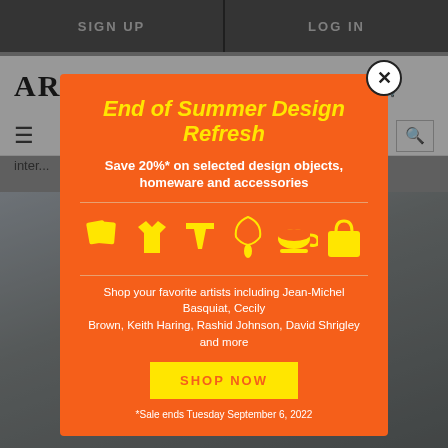SIGN UP  |  LOG IN
ARTSPACE
[Figure (screenshot): Artspace website with popup modal advertisement for End of Summer Design Refresh sale]
End of Summer Design Refresh
Save 20%* on selected design objects, homeware and accessories
[Figure (illustration): Yellow icons row: books/prints, t-shirt, shorts, necklace, teacup, tote bag]
Shop your favorite artists including Jean-Michel Basquiat, Cecily Brown, Keith Haring, Rashid Johnson, David Shrigley and more
SHOP NOW
*Sale ends Tuesday September 6, 2022